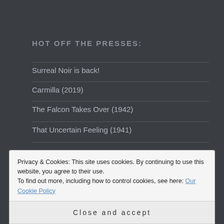HOT OFF THE PRESSES:
Surreal Noir is back!
Carmilla (2019)
The Falcon Takes Over (1942)
That Uncertain Feeling (1941)
Privacy & Cookies: This site uses cookies. By continuing to use this website, you agree to their use.
To find out more, including how to control cookies, see here: Our Cookie Policy
Close and accept